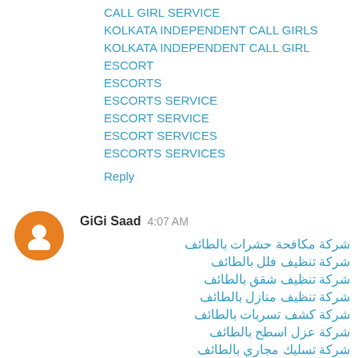CALL GIRL SERVICE
KOLKATA INDEPENDENT CALL GIRLS
KOLKATA INDEPENDENT CALL GIRL
ESCORT
ESCORTS
ESCORTS SERVICE
ESCORT SERVICE
ESCORT SERVICES
ESCORTS SERVICES
Reply
GiGi Saad  4:07 AM
شركة مكافحة حشرات بالطائف
شركة تنظيف فلل بالطائف
شركة تنظيف شقق بالطائف
شركة تنظيف منازل بالطائف
شركة كشف تسربات بالطائف
شركة عزل اسطح بالطائف
شركة تسليك مجاري بالطائف